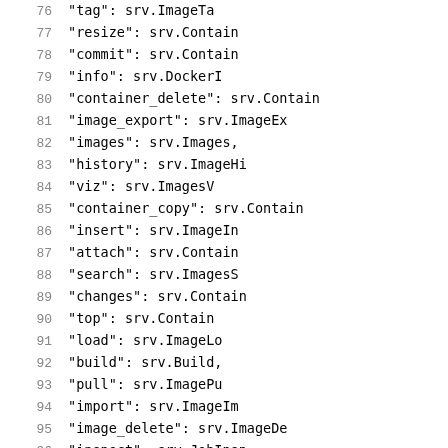Code listing lines 76-96 showing key-value pairs mapping string keys to srv.* handler values
76  "tag":              srv.ImageTa
77  "resize":          srv.Contain
78  "commit":          srv.Contain
79  "info":            srv.DockerI
80  "container_delete": srv.Contain
81  "image_export":    srv.ImageEx
82  "images":          srv.Images,
83  "history":         srv.ImageHi
84  "viz":             srv.ImagesV
85  "container_copy":  srv.Contain
86  "insert":          srv.ImageIn
87  "attach":          srv.Contain
88  "search":          srv.ImagesS
89  "changes":         srv.Contain
90  "top":             srv.Contain
91  "load":            srv.ImageLo
92  "build":           srv.Build,
93  "pull":            srv.ImagePu
94  "import":          srv.ImageIm
95  "image_delete":    srv.ImageDe
96  "inspect":         srv.JobInsp